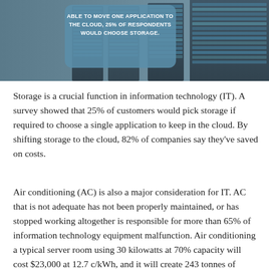[Figure (infographic): Infographic image of server racks with a callout box reading: 'ABLE TO MOVE ONE APPLICATION TO THE CLOUD, 25% OF RESPONDENTS WOULD CHOOSE STORAGE.']
Storage is a crucial function in information technology (IT). A survey showed that 25% of customers would pick storage if required to choose a single application to keep in the cloud. By shifting storage to the cloud, 82% of companies say they've saved on costs.
Air conditioning (AC) is also a major consideration for IT. AC that is not adequate has not been properly maintained, or has stopped working altogether is responsible for more than 65% of information technology equipment malfunction. Air conditioning a typical server room using 30 kilowatts at 70% capacity will cost $23,000 at 12.7 c/kWh, and it will create 243 tonnes of greenhouse gas. This cost might increase by as much as 67% by 2023, if calculated